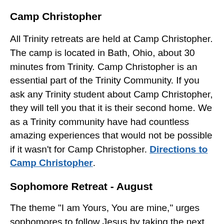Camp Christopher
All Trinity retreats are held at Camp Christopher. The camp is located in Bath, Ohio, about 30 minutes from Trinity. Camp Christopher is an essential part of the Trinity Community. If you ask any Trinity student about Camp Christopher, they will tell you that it is their second home. We as a Trinity community have had countless amazing experiences that would not be possible if it wasn't for Camp Christopher. Directions to Camp Christopher.
Sophomore Retreat - August
The theme "I am Yours, You are mine," urges sophomores to follow Jesus by taking the next step in their faith life, and step away from all those things that may be holding them back from fulfilling a relationship with God, their...